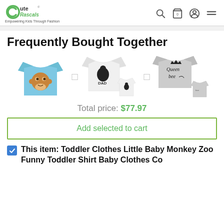Cute Rascals — Empowering Kids Through Fashion
Frequently Bought Together
[Figure (illustration): Three product images side by side with plus signs: blue toddler monkey t-shirt, white DAD swan t-shirt with onesie set, and grey Queen Bee matching set]
Total price: $77.97
Add selected to cart
This item: Toddler Clothes Little Baby Monkey Zoo Funny Toddler Shirt Baby Clothes Cotton